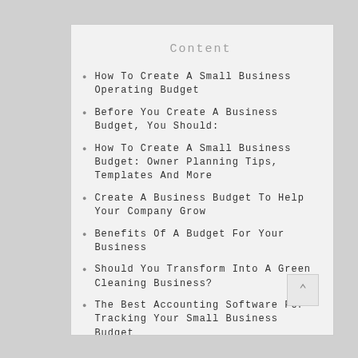Content
How To Create A Small Business Operating Budget
Before You Create A Business Budget, You Should:
How To Create A Small Business Budget: Owner Planning Tips, Templates And More
Create A Business Budget To Help Your Company Grow
Benefits Of A Budget For Your Business
Should You Transform Into A Green Cleaning Business?
The Best Accounting Software For Tracking Your Small Business Budget
What Makes A Good Budget?